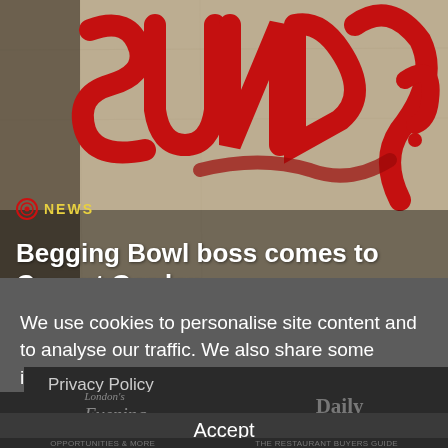[Figure (photo): Graffiti-style red painted text on a beige/tan wall background with the word appearing to be in graffiti lettering]
Begging Bowl boss comes to Covent Garden
We use cookies to personalise site content and to analyse our traffic. We also share some information about your use of this site with our advertising partners.
Privacy Policy
Accept